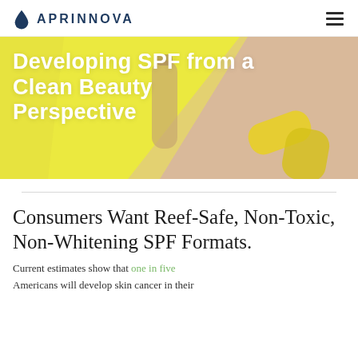APRINNOVA
[Figure (photo): Hero banner image showing sunscreen/SPF products on yellow and beige background with text overlay: Developing SPF from a Clean Beauty Perspective]
Developing SPF from a Clean Beauty Perspective
Consumers Want Reef-Safe, Non-Toxic, Non-Whitening SPF Formats.
Current estimates show that one in five Americans will develop skin cancer in their